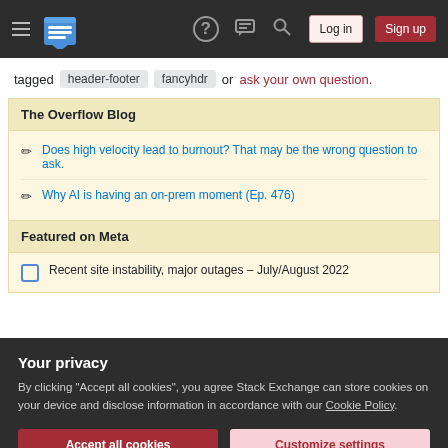Stack Exchange navigation bar with logo, help, chat, search, Log in, Sign up
tagged header-footer fancyhdr or ask your own question.
The Overflow Blog
Does high velocity lead to burnout? That may be the wrong question to ask.
Why AI is having an on-prem moment (Ep. 476)
Featured on Meta
Recent site instability, major outages – July/August 2022
Your privacy
By clicking "Accept all cookies", you agree Stack Exchange can store cookies on your device and disclose information in accordance with our Cookie Policy.
Fancyhdr header and footer disappear